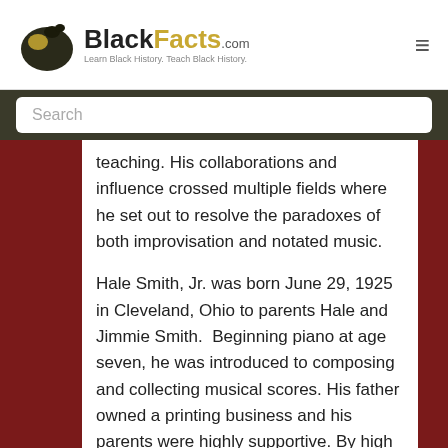BlackFacts.com — Learn Black History. Teach Black History.
teaching. His collaborations and influence crossed multiple fields where he set out to resolve the paradoxes of both improvisation and notated music.
Hale Smith, Jr. was born June 29, 1925 in Cleveland, Ohio to parents Hale and Jimmie Smith. Beginning piano at age seven, he was introduced to composing and collecting musical scores. His father owned a printing business and his parents were highly supportive. By high school he was playing jazz…